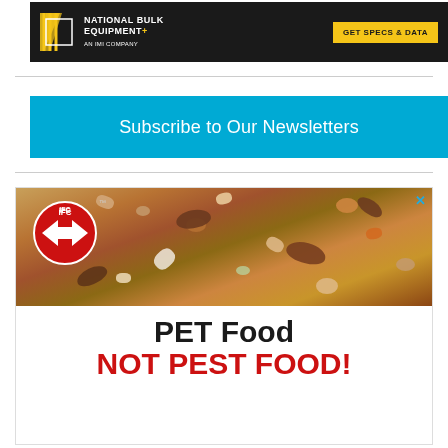[Figure (illustration): National Bulk Equipment advertisement banner. Dark/black background with NBE logo on left (yellow diagonal lines icon, white text 'NATIONAL BULK EQUIPMENT+ AN IMI COMPANY') and yellow 'GET SPECS & DATA' button on right.]
[Figure (illustration): Cyan/blue banner with white text: 'Subscribe to Our Newsletters']
[Figure (illustration): IFC pest control advertisement. Top half shows photo of cockroaches on pet food/kibble with IFC logo badge (red circle with arrow/fish graphic). Close X button top right. Bottom half has text 'PET Food' in black and 'NOT PEST Food!' in red.]